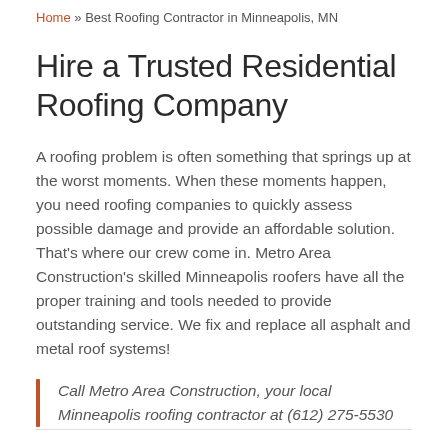Home » Best Roofing Contractor in Minneapolis, MN
Hire a Trusted Residential Roofing Company
A roofing problem is often something that springs up at the worst moments. When these moments happen, you need roofing companies to quickly assess possible damage and provide an affordable solution. That's where our crew come in. Metro Area Construction's skilled Minneapolis roofers have all the proper training and tools needed to provide outstanding service. We fix and replace all asphalt and metal roof systems!
Call Metro Area Construction, your local Minneapolis roofing contractor at (612) 275-5530